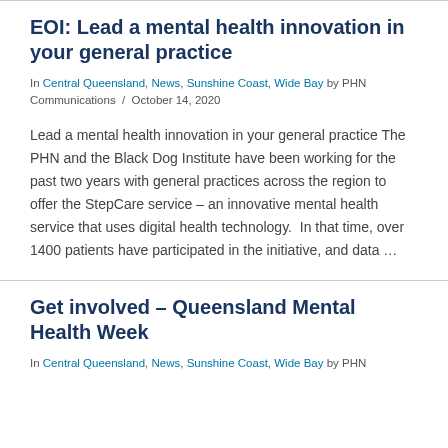EOI: Lead a mental health innovation in your general practice
In Central Queensland, News, Sunshine Coast, Wide Bay by PHN Communications / October 14, 2020
Lead a mental health innovation in your general practice The PHN and the Black Dog Institute have been working for the past two years with general practices across the region to offer the StepCare service – an innovative mental health service that uses digital health technology.  In that time, over 1400 patients have participated in the initiative, and data …
Get involved – Queensland Mental Health Week
In Central Queensland, News, Sunshine Coast, Wide Bay by PHN